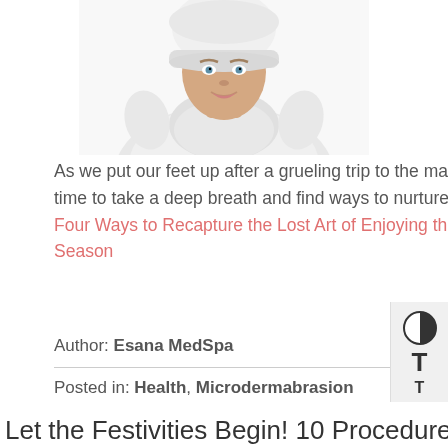[Figure (photo): Woman wearing white winter hat and scarf, smiling, cropped at top of page]
As we put our feet up after a grueling trip to the mall or make yet another complicated recipe for a holiday event, it's time to take a deep breath and find ways to nurture ourselves rather than giving in to holiday stress. Continue Reading Four Ways to Recapture the Lost Art of Enjoying the Holiday Season
Author: Esana MedSpa
Posted in: Health, Microdermabrasion
Let the Festivities Begin! 10 Procedures...